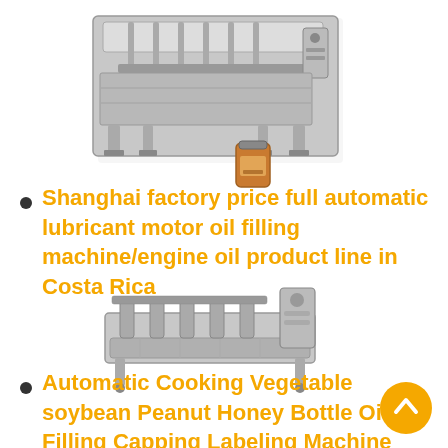[Figure (photo): Industrial filling machine (multi-head liquid filler) in stainless steel, with a small jar of oil/honey product in front]
Shanghai factory price full automatic lubricant motor oil filling machine/engine oil product line in Costa Rica
[Figure (photo): Automatic rotary capping/filling machine production line in stainless steel]
Automatic Cooking Vegetable soybean Peanut Honey Bottle Oil Filling Capping Labeling Machine Line in Slovenia